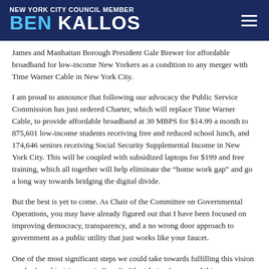NEW YORK CITY COUNCIL MEMBER BEN KALLOS
James and Manhattan Borough President Gale Brewer for affordable broadband for low-income New Yorkers as a condition to any merger with Time Warner Cable in New York City.
I am proud to announce that following our advocacy the Public Service Commission has just ordered Charter, which will replace Time Warner Cable, to provide affordable broadband at 30 MBPS for $14.99 a month to 875,601 low-income students receiving free and reduced school lunch, and 174,646 seniors receiving Social Security Supplemental Income in New York City. This will be coupled with subsidized laptops for $199 and free training, which all together will help eliminate the “home work gap” and go a long way towards bridging the digital divide.
But the best is yet to come. As Chair of the Committee on Governmental Operations, you may have already figured out that I have been focused on improving democracy, transparency, and a no wrong door approach to government as a public utility that just works like your faucet.
One of the most significant steps we could take towards fulfilling this vision can be found in “Automatic Benefits” legislation I proposed this summer that would give government benefits to everybody who qualifies